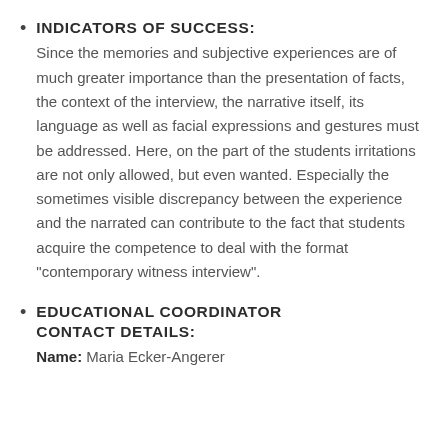INDICATORS OF SUCCESS: Since the memories and subjective experiences are of much greater importance than the presentation of facts, the context of the interview, the narrative itself, its language as well as facial expressions and gestures must be addressed. Here, on the part of the students irritations are not only allowed, but even wanted. Especially the sometimes visible discrepancy between the experience and the narrated can contribute to the fact that students acquire the competence to deal with the format "contemporary witness interview".
EDUCATIONAL COORDINATOR CONTACT DETAILS: Name: Maria Ecker-Angerer